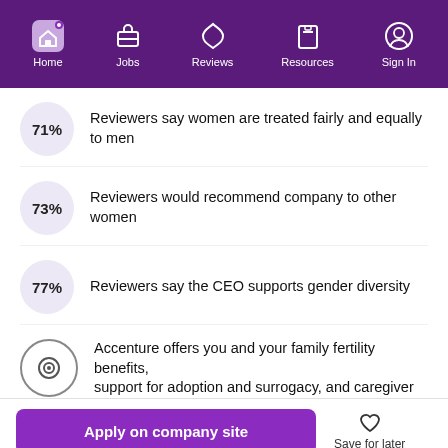Home | Jobs | Reviews | Resources | Sign In
71% Reviewers say women are treated fairly and equally to men
73% Reviewers would recommend company to other women
77% Reviewers say the CEO supports gender diversity
Accenture offers you and your family fertility benefits, support for adoption and surrogacy, and caregiver
Apply on company site
Save for later
Our site uses cookies to improve your experience. Read More
Got It!